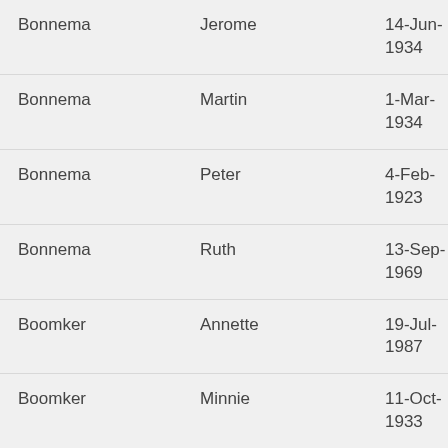| Last Name | First Name | Date |
| --- | --- | --- |
| Bonnema | Jerome | 14-Jun-1934 |
| Bonnema | Martin | 1-Mar-1934 |
| Bonnema | Peter | 4-Feb-1923 |
| Bonnema | Ruth | 13-Sep-1969 |
| Boomker | Annette | 19-Jul-1987 |
| Boomker | Minnie | 11-Oct-1933 |
| Boomker | Sarah | 4-Oct-1937 |
| Boomker | Theodore S. | 15-Jul-1979 |